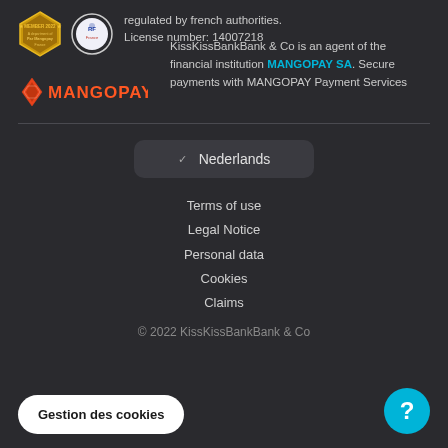regulated by french authorities. License number: 14007218
[Figure (logo): MANGOPAY logo with diamond icon]
KissKissBankBank & Co is an agent of the financial institution MANGOPAY SA. Secure payments with MANGOPAY Payment Services
[Figure (other): Language selector button showing Nederlands]
Terms of use
Legal Notice
Personal data
Cookies
Claims
© 2022 KissKissBankBank & Co
Gestion des cookies